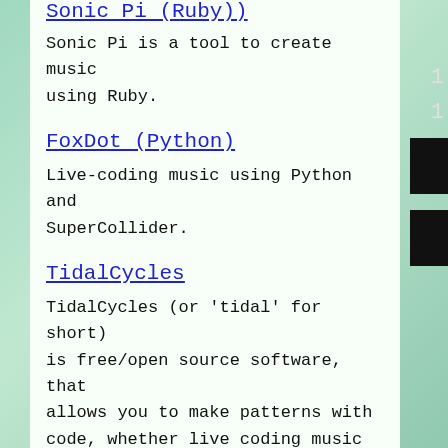Sonic Pi (Ruby)
Sonic Pi is a tool to create music using Ruby.
FoxDot (Python)
Live-coding music using Python and SuperCollider.
TidalCycles
TidalCycles (or 'tidal' for short) is free/open source software, that allows you to make patterns with code, whether live coding music at algoraves or composing in the studio. Tidal is embedded in the Haskell language, although you